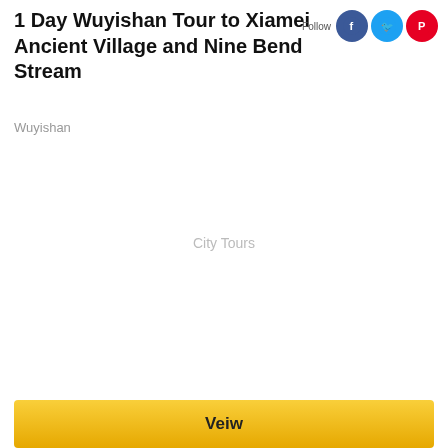1 Day Wuyishan Tour to Xiamei Ancient Village and Nine Bend Stream
Wuyishan
City Tours
Veiw
Fujian
Nanping
Wuyishan
3 Days Wuyishan Tour
Wuyishan